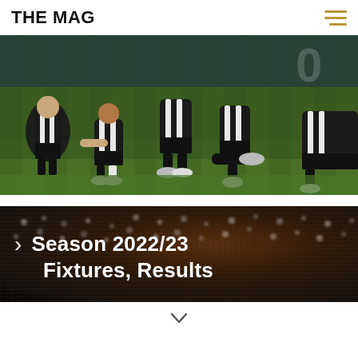THE MAG
[Figure (photo): Football players in black and white striped Newcastle United jerseys sitting/kneeling on a green pitch after a match.]
[Figure (photo): Dark image of a large crowd in stadium stands, with overlay text: chevron arrow, 'Season 2022/23', 'Fixtures, Results']
Season 2022/23
Fixtures, Results